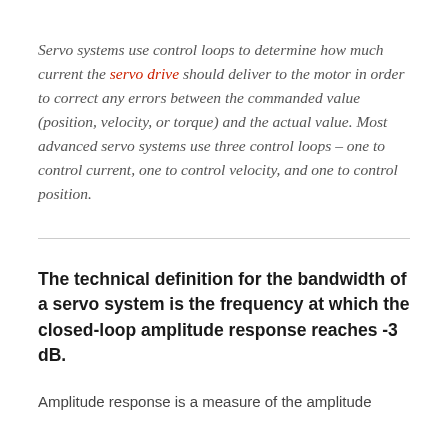Servo systems use control loops to determine how much current the servo drive should deliver to the motor in order to correct any errors between the commanded value (position, velocity, or torque) and the actual value. Most advanced servo systems use three control loops – one to control current, one to control velocity, and one to control position.
The technical definition for the bandwidth of a servo system is the frequency at which the closed-loop amplitude response reaches -3 dB.
Amplitude response is a measure of the amplitude